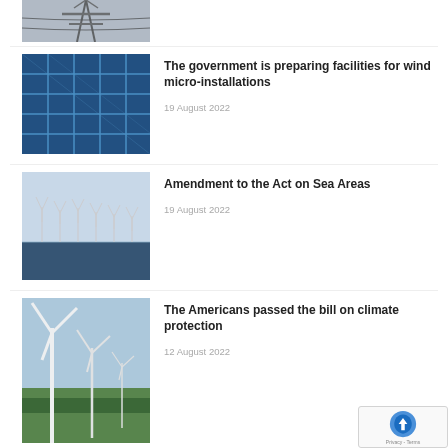[Figure (photo): Partial view of electricity transmission tower/power lines against sky]
[Figure (photo): Close-up of blue solar panels]
The government is preparing facilities for wind micro-installations
19 August 2022
[Figure (photo): Offshore wind turbines on the sea horizon]
Amendment to the Act on Sea Areas
19 August 2022
[Figure (photo): Wind turbines on green landscape]
The Americans passed the bill on climate protection
12 August 2022